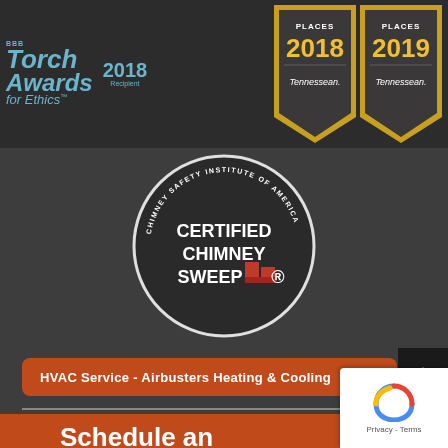[Figure (logo): BBB Torch Awards for Ethics 2018 Recipient logo in light blue/teal, Tennessean Best Places 2018 and 2019 gold badge awards]
[Figure (logo): Certified Chimney Sweep - Chimney Safety Institute of America circular badge logo with red chimney graphic]
HVAC Service - Airbusters Heating & Cooling
Call Us Now
Schedule an Appointment